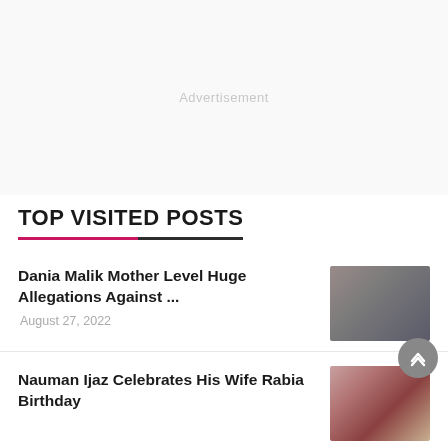Advertisement
TOP VISITED POSTS
Dania Malik Mother Level Huge Allegations Against ...
August 27, 2022
[Figure (photo): Two people, a woman and a man, in a thumbnail image]
Nauman Ijaz Celebrates His Wife Rabia Birthday
[Figure (photo): Group of people at a birthday celebration]